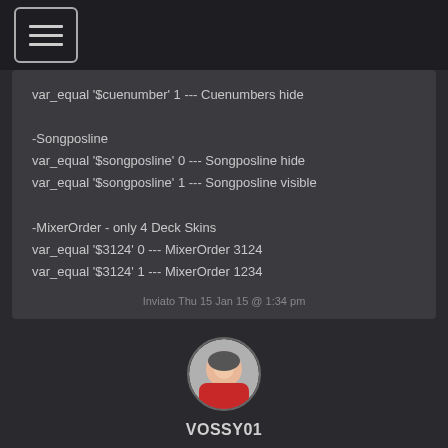[Figure (other): Hamburger menu icon button (three horizontal lines in a rounded rectangle border)]
var_equal '$cuenumber' 1 --- Cuenumbers hide

-Songposline
var_equal '$songposline' 0 --- Songposline hide
var_equal '$songposline' 1 --- Songposline visible

-MixerOrder - only 4 Deck Skins
var_equal '$3124' 0 --- MixerOrder 3124
var_equal '$3124' 1 --- MixerOrder 1234
Inviato Thu 15 Jan 15 @ 1:34 pm
[Figure (photo): Circular avatar photo of a man in a red jacket]
VOSSY01
[Figure (other): German flag emoji]